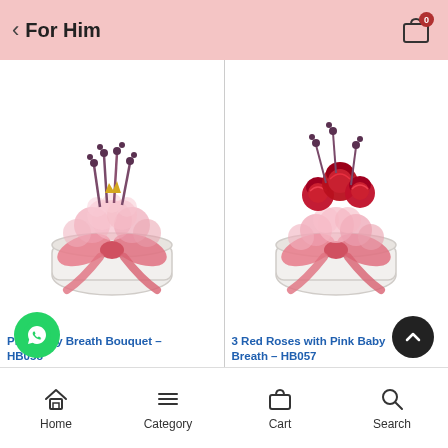For Him
[Figure (photo): Pink Baby Breath Bouquet in a white round box with pink satin ribbon bow]
Pink Baby Breath Bouquet – HB058
[Figure (photo): 3 Red Roses with Pink Baby Breath arrangement in white round box with pink ribbon]
3 Red Roses with Pink Baby Breath – HB057
Home  Category  Cart  Search